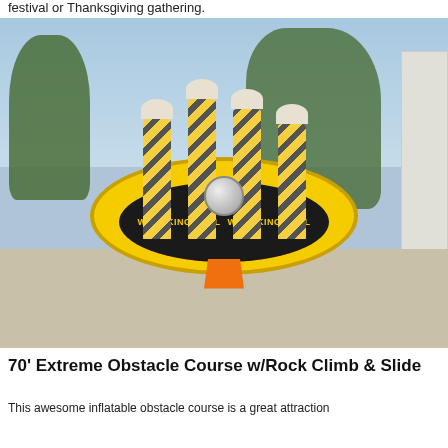festival or Thanksgiving gathering.
[Figure (photo): Inflatable wrecking ball attraction with yellow ring base, black band reading 'WRECKING BALL', multiple black-and-yellow striped pillars, hanging wrecking ball, and orange entrance ramp, set on a concrete surface outdoors.]
70' Extreme Obstacle Course w/Rock Climb & Slide
This awesome inflatable obstacle course is a great attraction